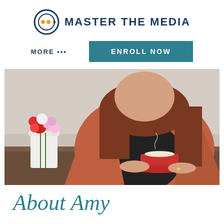[Figure (logo): Master the Media logo with circular film reel icon and brand name text]
MORE ...
ENROLL NOW
[Figure (photo): Woman wearing an orange/rust jacket and black top, sitting at a wooden table, holding a red coffee cup with saucer. A white vase with colorful flowers is on the left side of the table.]
About Amy